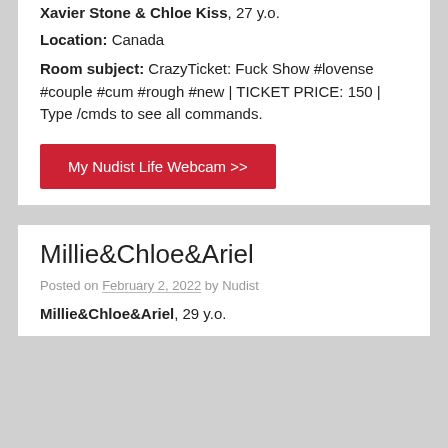Xavier Stone & Chloe Kiss, 27 y.o.
Location: Canada
Room subject: CrazyTicket: Fuck Show #lovense #couple #cum #rough #new | TICKET PRICE: 150 | Type /cmds to see all commands.
My Nudist Life Webcam >>
Millie&Chloe&Ariel
Posted on February 2, 2022 by Nudist
Millie&Chloe&Ariel, 29 y.o.